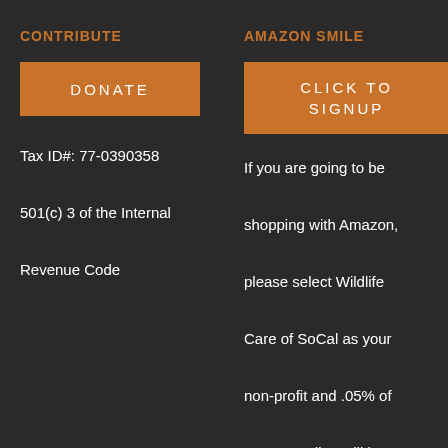CONTRIBUTE
DONATE
Tax ID#: 77-0390358
501(c) 3 of the Internal Revenue Code
AMAZON SMILE
CLICK TO SIGNUP
If you are going to be shopping with Amazon, please select Wildlife Care of SoCal as your non-profit and .05% of your spending will be donated to us at no additional cost to you!